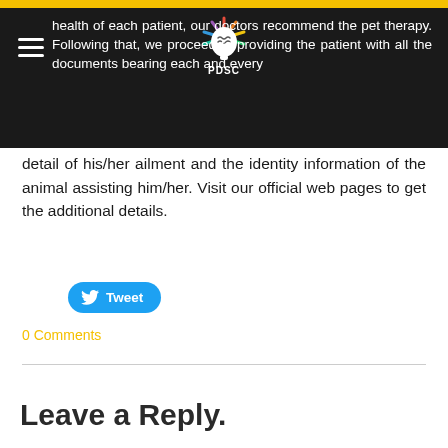health of each patient, our doctors recommend the pet therapy. Following that, we proceed to providing the patient with all the documents bearing each and every detail of his/her ailment and the identity information of the animal assisting him/her. Visit our official web pages to get the additional details.
detail of his/her ailment and the identity information of the animal assisting him/her. Visit our official web pages to get the additional details.
Tweet
0 Comments
Leave a Reply.